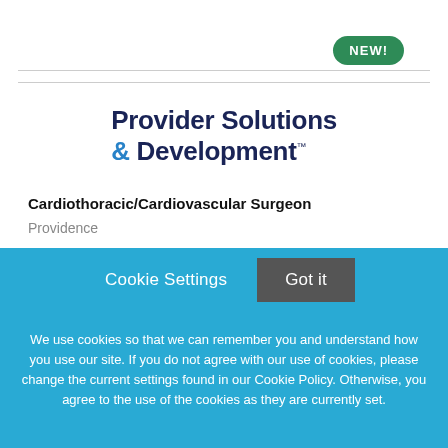[Figure (logo): NEW! badge in green rounded pill shape, top right]
Provider Solutions & Development™
Cardiothoracic/Cardiovascular Surgeon
Providence
Cookie Settings  Got it
We use cookies so that we can remember you and understand how you use our site. If you do not agree with our use of cookies, please change the current settings found in our Cookie Policy. Otherwise, you agree to the use of the cookies as they are currently set.